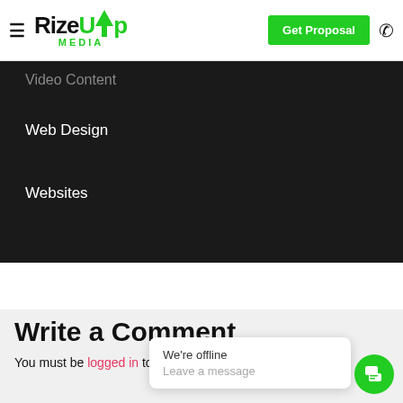[Figure (screenshot): RizeUp Media website header with hamburger menu, logo, green Get Proposal button, and phone icon]
Video Content (faded/partial)
Web Design
Websites
Write a Comment
You must be logged in to post a comment.
We're offline
Leave a message